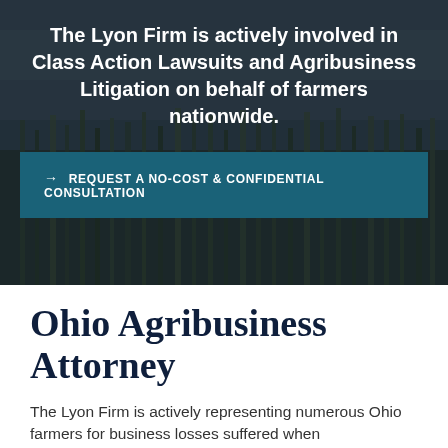[Figure (photo): Darkened photo of a cornfield/crop field under overcast sky, used as hero background image]
The Lyon Firm is actively involved in Class Action Lawsuits and Agribusiness Litigation on behalf of farmers nationwide.
→ REQUEST A NO-COST & CONFIDENTIAL CONSULTATION
Ohio Agribusiness Attorney
The Lyon Firm is actively representing numerous Ohio farmers for business losses suffered when